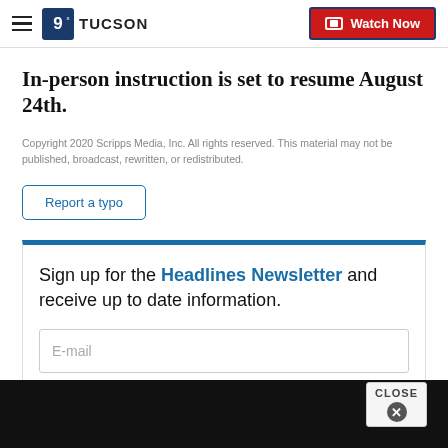9 TUCSON | Watch Now
In-person instruction is set to resume August 24th.
Copyright 2020 Scripps Media, Inc. All rights reserved. This material may not be published, broadcast, rewritten, or redistributed.
Report a typo
Sign up for the Headlines Newsletter and receive up to date information.
E-mail
CLOSE